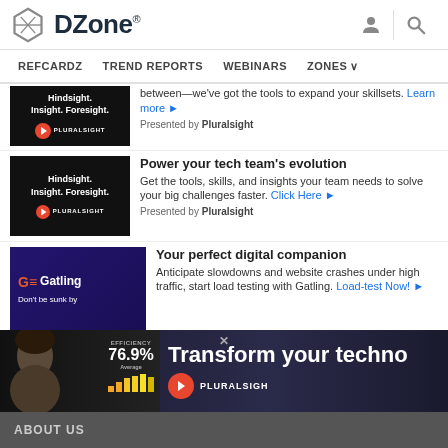DZone — REFCARDZ  TREND REPORTS  WEBINARS  ZONES
[Figure (screenshot): Pluralsight ad thumbnail (partial): Hindsight. Insight. Foresight. with Pluralsight logo on black background]
between—we've got the tools to expand your skillsets. Learn more ►
Presented by Pluralsight
[Figure (screenshot): Pluralsight ad thumbnail: Hindsight. Insight. Foresight. with Pluralsight logo on black background]
Power your tech team's evolution
Get the tools, skills, and insights your team needs to solve your big challenges faster. Click Here ►
Presented by Pluralsight
[Figure (screenshot): Gatling ad thumbnail: Gatling logo, Don't be sunk by text on dark purple background]
Your perfect digital companion
Anticipate slowdowns and website crashes under high traffic, start load testing with Gatling. Load-test Now! ►
[Figure (screenshot): Bottom banner ad: Transform your techno[logy] — Pluralsight ad with woman and efficiency stats 76.9%]
ABOUT US